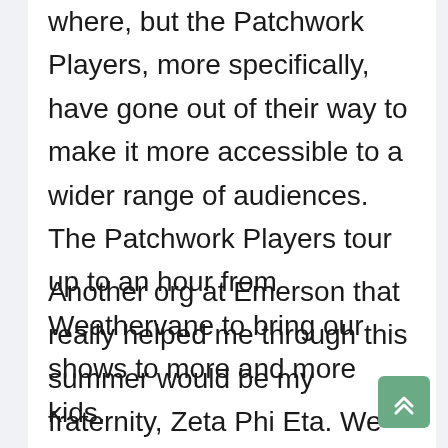where, but the Patchwork Players, more specifically, have gone out of their way to make it more accessible to a wider range of audiences. The Patchwork Players tour up to an hour from Weathervane to bring our shows to more and more kids.
Another org at Emerson that really helped me through this summer would be my fraternity, Zeta Phi Eta. We are a national professional